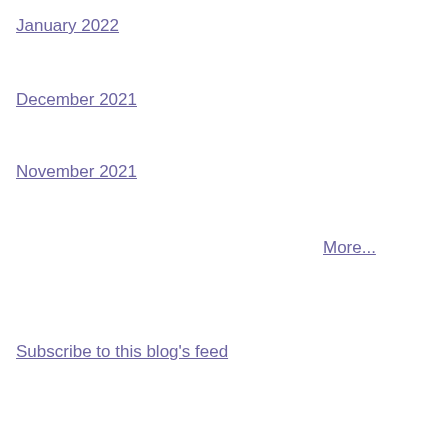January 2022
December 2021
November 2021
More...
Subscribe to this blog's feed